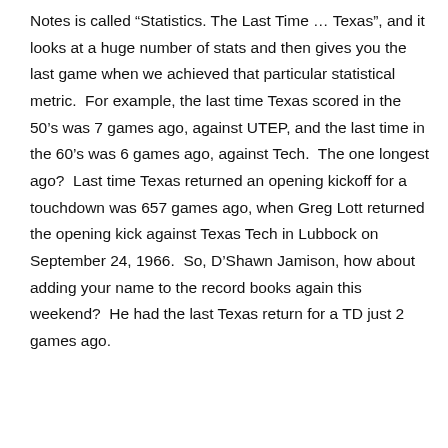Notes is called “Statistics. The Last Time … Texas”, and it looks at a huge number of stats and then gives you the last game when we achieved that particular statistical metric.  For example, the last time Texas scored in the 50’s was 7 games ago, against UTEP, and the last time in the 60’s was 6 games ago, against Tech.  The one longest ago?  Last time Texas returned an opening kickoff for a touchdown was 657 games ago, when Greg Lott returned the opening kick against Texas Tech in Lubbock on September 24, 1966.  So, D’Shawn Jamison, how about adding your name to the record books again this weekend?  He had the last Texas return for a TD just 2 games ago.